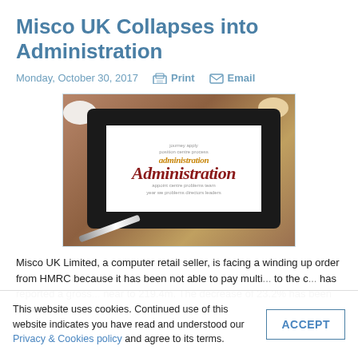Misco UK Collapses into Administration
Monday, October 30, 2017   Print   Email
[Figure (photo): A tablet device showing a word cloud featuring the word 'Administration' prominently, placed on a wooden surface with cookies and a pen nearby.]
Misco UK Limited, a computer retail seller, is facing a winding up order from HMRC because it has been not able to pay multi... to the c... has reported a gross... near to 219.4m. The decrease of 23.2% has been observed in this
This website uses cookies. Continued use of this website indicates you have read and understood our Privacy & Cookies policy and agree to its terms.